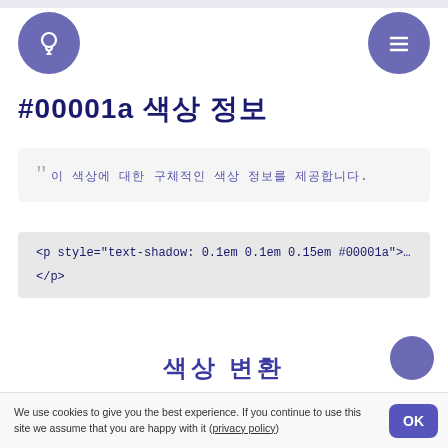#00001a 색상 정보
컬러 정보를 한 눈에 볼 수 있는 컬러에 대한 정보입니다.
<p style="text-shadow: 0.1em 0.1em 0.15em #00001a">…
</p>
색상 변환
RGB
100
We use cookies to give you the best experience. If you continue to use this site we assume that you are happy with it (privacy policy)